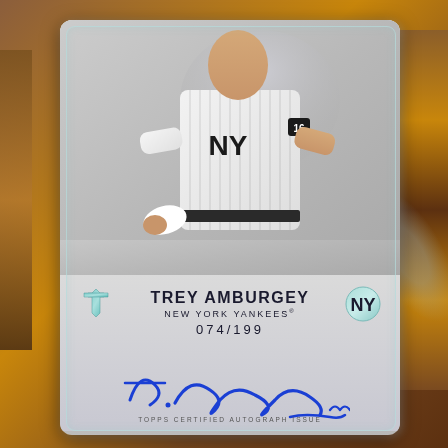[Figure (photo): Topps Tribute baseball card featuring Trey Amburgey of the New York Yankees. The card shows a player photo in Yankees pinstripe uniform with number 16, silver/chrome card design with holographic Topps logo and NY Yankees logo. Card is numbered 074/199 with a blue ink autograph signature. Text reads 'TOPPS CERTIFIED AUTOGRAPH ISSUE' at the bottom.]